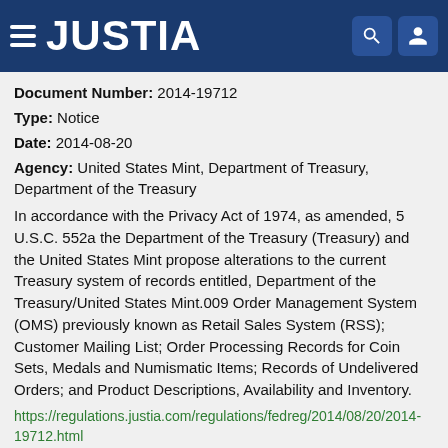JUSTIA
Document Number: 2014-19712
Type: Notice
Date: 2014-08-20
Agency: United States Mint, Department of Treasury, Department of the Treasury
In accordance with the Privacy Act of 1974, as amended, 5 U.S.C. 552a the Department of the Treasury (Treasury) and the United States Mint propose alterations to the current Treasury system of records entitled, Department of the Treasury/United States Mint.009 Order Management System (OMS) previously known as Retail Sales System (RSS); Customer Mailing List; Order Processing Records for Coin Sets, Medals and Numismatic Items; Records of Undelivered Orders; and Product Descriptions, Availability and Inventory.
https://regulations.justia.com/regulations/fedreg/2014/08/20/2014-19712.html